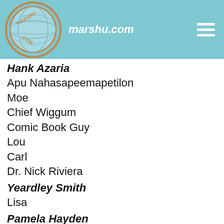marshu.com
Hank Azaria
Apu Nahasapeemapetilon
Moe
Chief Wiggum
Comic Book Guy
Lou
Carl
Dr. Nick Riviera
Yeardley Smith
Lisa
Pamela Hayden
Milhouse
Rod Flanders
Harry Shearer
Montgomery Burns
Smithers
Ned Flanders
Principal Skinner